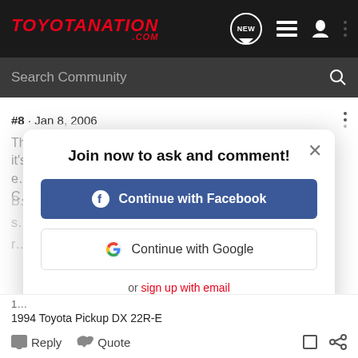TOYOTANATION .COM
Search Community
#8 · Jan 8, 2006
The Enclave's dash is a rip-off of the BMW 3 series, and it's e… C…
Join now to ask and comment!
Continue with Facebook
Continue with Google
or sign up with email
1994 Toyota Pickup DX 22R-E
Reply   Quote